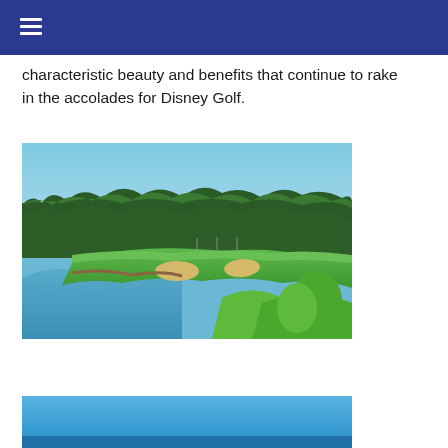characteristic beauty and benefits that continue to rake in the accolades for Disney Golf.
[Figure (photo): Aerial view of a golf course green surrounded by a pond and sand bunkers, with dense trees in the background under a blue sky.]
Disney's Palm Golf Course
[Figure (photo): Partial view of another golf course image cropped at the bottom of the page, showing blue sky and green.]